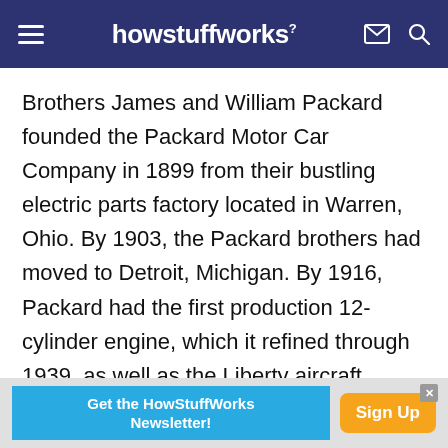howstuffworks
Brothers James and William Packard founded the Packard Motor Car Company in 1899 from their bustling electric parts factory located in Warren, Ohio. By 1903, the Packard brothers had moved to Detroit, Michigan. By 1916, Packard had the first production 12-cylinder engine, which it refined through 1939, as well as the Liberty aircraft engine, which was the most widely used engine in airplanes during World War II. The Packard cars were known as the most expensive production vehicles in their day, and the smaller 1941 Clipper model, designed
[Figure (screenshot): Advertisement banner: 'Get the HowStuffWorks Newsletter!' with a Sign Up button]